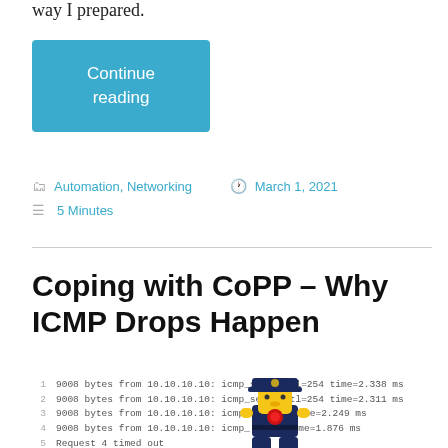way I prepared.
Continue reading
Automation, Networking   March 1, 2021
5 Minutes
Coping with CoPP – Why ICMP Drops Happen
1  9008 bytes from 10.10.10.10: icmp_seq=0 ttl=254 time=2.338 ms
2  9008 bytes from 10.10.10.10: icmp_seq=1 ttl=254 time=2.311 ms
3  9008 bytes from 10.10.10.10: icmp_seq=2 ttl=254 time=2.249 ms
4  9008 bytes from 10.10.10.10: icmp_seq=3 ttl=254 time=1.876 ms
5  Request 4 timed out
6  9008 bytes from 10.10.10.10: icmp_seq=5 ttl=254 time=3.148 ms
7  9008 bytes from 10.10.10.10: icmp_seq=6 ttl=254 time=2.242 ms